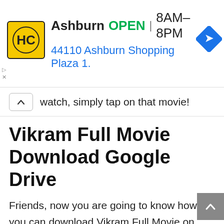[Figure (screenshot): Advertisement banner for HC store in Ashburn, showing logo, OPEN status, hours 8AM-8PM, address 44110 Ashburn Shopping Plaza 1., and navigation icon]
watch, simply tap on that movie!
Vikram Full Movie Download Google Drive
Friends, now you are going to know how you can download Vikram Full Movie on Google Drive. Let us tell you that google drive is a very good way to download movies but you will not get to see all these movies. You will get to see this film